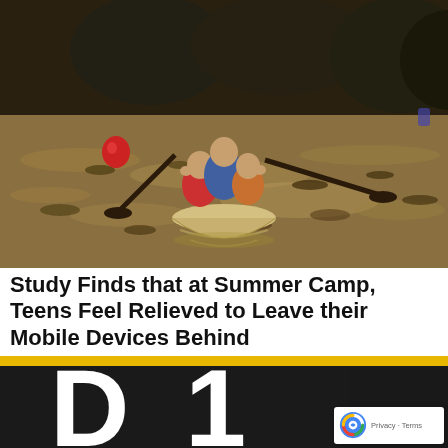[Figure (photo): Photo of teens paddling in a canoe on a lake/river, seen from behind, wearing life vests and holding paddles, surrounded by brown water. Trees in dark background.]
Study Finds that at Summer Camp, Teens Feel Relieved to Leave their Mobile Devices Behind
[Figure (photo): Partial photo showing a dark background with a large white letter or number visible, possibly a D1 logo or similar, with a yellow/gold accent stripe at top.]